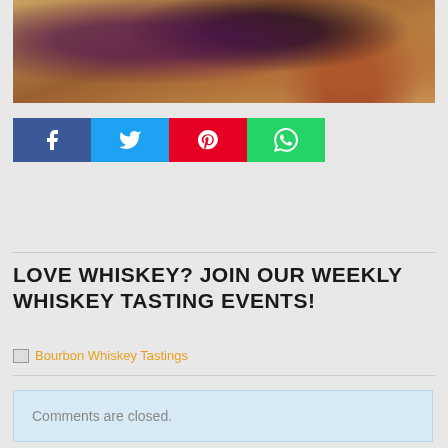[Figure (photo): Close-up food photo showing what appears to be meat or a baked good with dark purple/blackberry topping on a wooden cutting board with red sauce drips]
[Figure (infographic): Social media share buttons row: Facebook (blue), Twitter (cyan), Pinterest (red), WhatsApp (green)]
LOVE WHISKEY? JOIN OUR WEEKLY WHISKEY TASTING EVENTS!
[Figure (other): Broken image link with alt text: Bourbon Whiskey Tastings]
Comments are closed.